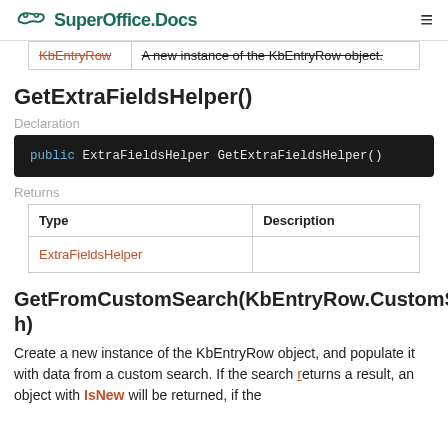SuperOffice Docs
| KbEntryRow | A new instance of the KbEntryRow object. |
GetExtraFieldsHelper()
Declaration
Returns
| Type | Description |
| --- | --- |
| ExtraFieldsHelper |  |
GetFromCustomSearch(KbEntryRow.CustomSearch)
Create a new instance of the KbEntryRow object, and populate it with data from a custom search. If the search returns a result, an object with IsNew will be returned, if the